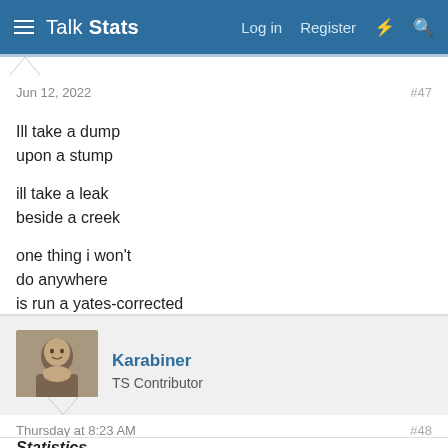Talk Stats — Log in  Register
Jun 12, 2022
#47
Ill take a dump
upon a stump

ill take a leak
beside a creek

one thing i won't
do anywhere
is run a yates-corrected
chi-square.
Karabiner
TS Contributor
Thursday at 8:23 AM
#48
Statistics